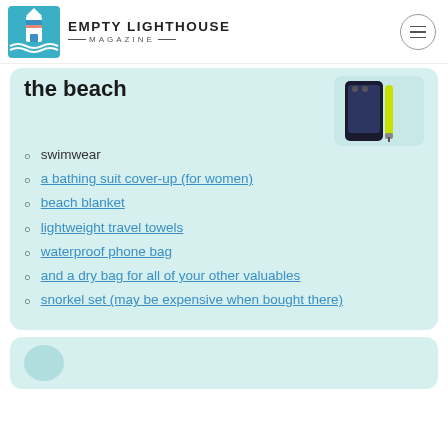EMPTY LIGHTHOUSE MAGAZINE
the beach
[Figure (photo): Waterproof phone bag and yellow lanyard product image]
swimwear
a bathing suit cover-up (for women)
beach blanket
lightweight travel towels
waterproof phone bag
and a dry bag for all of your other valuables
snorkel set (may be expensive when bought there)